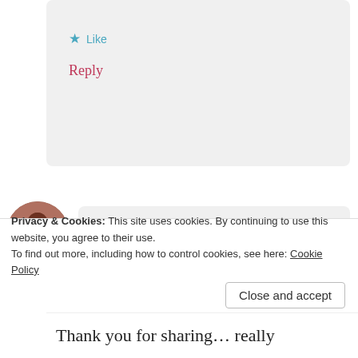Like
Reply
[Figure (photo): Circular avatar photo of a person wearing red, seated outdoors]
Aniekan
27th December 2021 at 2:53 pm

I'm glad it was helpful to you.
You're welcome!

Like
Reply
Privacy & Cookies: This site uses cookies. By continuing to use this website, you agree to their use.
To find out more, including how to control cookies, see here: Cookie Policy
Close and accept
Thank you for sharing… really